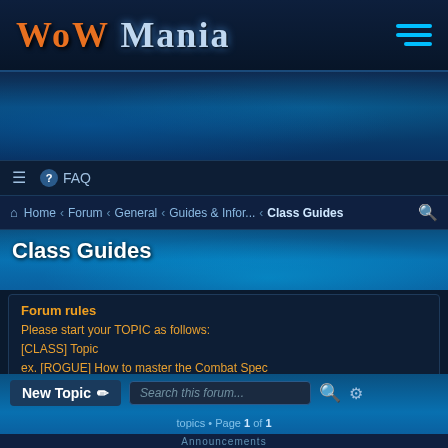WoW Mania
FAQ
Home · Forum · General · Guides & Infor... · Class Guides
Class Guides
Forum rules
Please start your TOPIC as follows:
[CLASS] Topic
ex. [ROGUE] How to master the Combat Spec
New Topic | Search this forum...
topics • Page 1 of 1
Announcements
Forum Rules
Last post by Janitor « Mon Oct 21, 2019 7:33 pm
Posted in General Guides